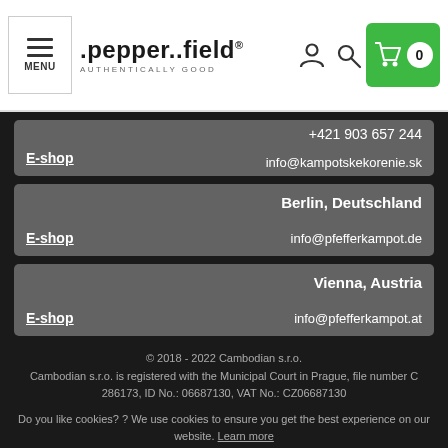[Figure (screenshot): Website header with hamburger menu button, pepper..field logo with tagline AUTHENTICALLY GOOD, user icon, search icon, and green shopping cart button showing 0 items]
+421 903 657 244
E-shop
info@kampotskekorenie.sk
Berlin, Deutschland
E-shop
info@pfefferkampot.de
Vienna, Austria
E-shop
info@pfefferkampot.at
© 2018 - 2022 Cambodian s.r.o.
Cambodian s.r.o. is registered with the Municipal Court in Prague, file number C 286173, ID No.: 06687130, VAT No.: CZ06687130
Do you like cookies? ? We use cookies to ensure you get the best experience on our website. Learn more